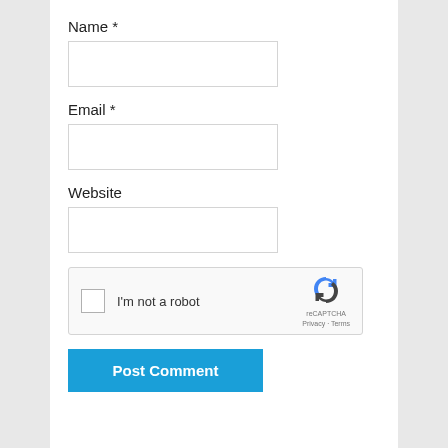Name *
[Figure (screenshot): Empty text input field for Name]
Email *
[Figure (screenshot): Empty text input field for Email]
Website
[Figure (screenshot): Empty text input field for Website]
[Figure (other): reCAPTCHA widget with checkbox 'I'm not a robot' and reCAPTCHA logo with Privacy - Terms links]
[Figure (other): Post Comment button in blue]